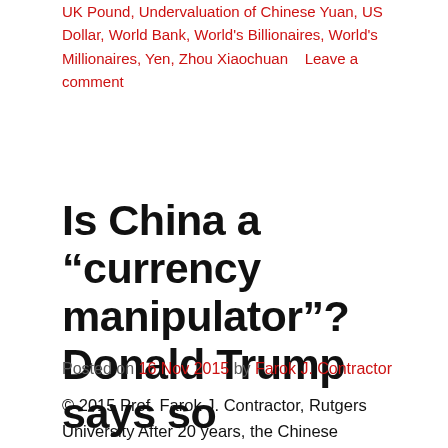UK Pound, Undervaluation of Chinese Yuan, US Dollar, World Bank, World's Billionaires, World's Millionaires, Yen, Zhou Xiaochuan    Leave a comment
Is China a “currency manipulator”? Donald Trump says so
Posted on 16 Nov 2015 by Farok J. Contractor
© 2015 Prof. Farok J. Contractor, Rutgers University After 20 years, the Chinese government must be used to it—being bashed by US politicians and Congress as a “currency manipulator.” Indeed, the exchange value of the yuan (or renminbi [RMB]) is fixed each morning by its